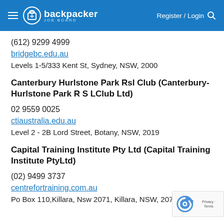backpacker JOB BOARD | Register / Login
(612) 9299 4999
bridgebc.edu.au
Levels 1-5/333 Kent St, Sydney, NSW, 2000
Canterbury Hurlstone Park Rsl Club (Canterbury-Hurlstone Park R S LClub Ltd)
02 9559 0025
ctiaustralia.edu.au
Level 2 - 2B Lord Street, Botany, NSW, 2019
Capital Training Institute Pty Ltd (Capital Training Institute PtyLtd)
(02) 9499 3737
centrefortraining.com.au
Po Box 110,Killara, Nsw 2071, Killara, NSW, 2071